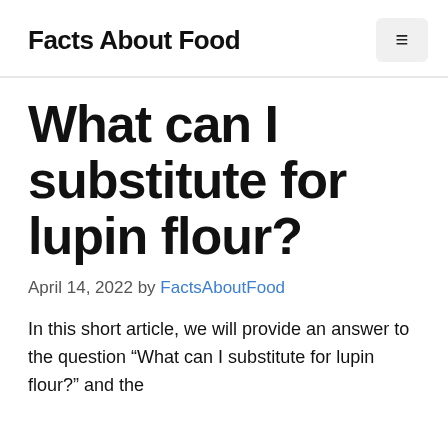Facts About Food
What can I substitute for lupin flour?
April 14, 2022 by FactsAboutFood
In this short article, we will provide an answer to the question “What can I substitute for lupin flour?” and the